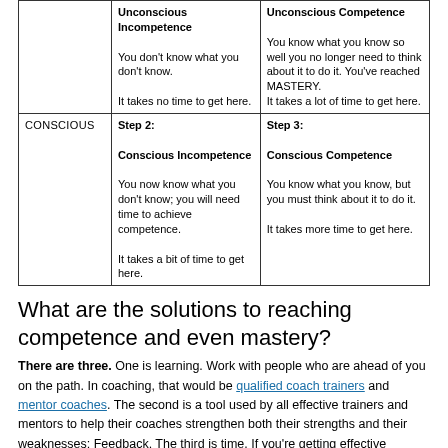|  | Unconscious Incompetence | Unconscious Competence |
| --- | --- | --- |
|  | You don't know what you don't know.

It takes no time to get here. | You know what you know so well you no longer need to think about it to do it. You've reached MASTERY.
It takes a lot of time to get here. |
| CONSCIOUS | Step 2:

Conscious Incompetence

You now know what you don't know; you will need time to achieve competence.

It takes a bit of time to get here. | Step 3:

Conscious Competence

You know what you know, but you must think about it to do it.

It takes more time to get here. |
What are the solutions to reaching competence and even mastery?
There are three. One is learning. Work with people who are ahead of you on the path. In coaching, that would be qualified coach trainers and mentor coaches. The second is a tool used by all effective trainers and mentors to help their coaches strengthen both their strengths and their weaknesses: Feedback. The third is time. If you're getting effective training and feedback, all you need is time spent practicing what you've learned and applying your feedback and you will progress.
Getting feedback from clients is helpful, but calling it mentor...